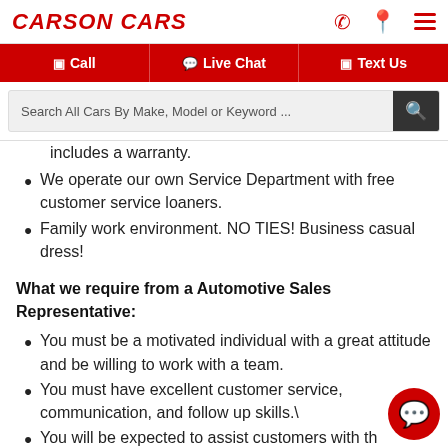CARSON CARS
includes a warranty.
We operate our own Service Department with free customer service loaners.
Family work environment. NO TIES! Business casual dress!
What we require from a Automotive Sales Representative:
You must be a motivated individual with a great attitude and be willing to work with a team.
You must have excellent customer service, communication, and follow up skills.\
You will be expected to assist customers with th